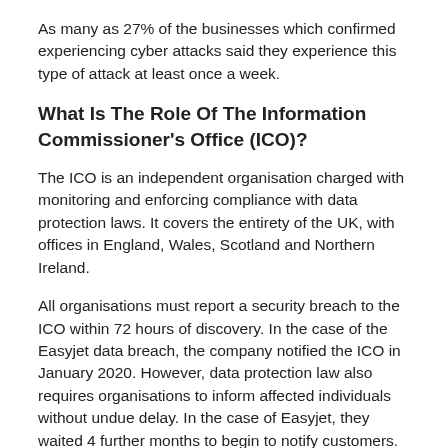As many as 27% of the businesses which confirmed experiencing cyber attacks said they experience this type of attack at least once a week.
What Is The Role Of The Information Commissioner's Office (ICO)?
The ICO is an independent organisation charged with monitoring and enforcing compliance with data protection laws. It covers the entirety of the UK, with offices in England, Wales, Scotland and Northern Ireland.
All organisations must report a security breach to the ICO within 72 hours of discovery. In the case of the Easyjet data breach, the company notified the ICO in January 2020. However, data protection law also requires organisations to inform affected individuals without undue delay. In the case of Easyjet, they waited 4 further months to begin to notify customers.
When an organization is in breach of laws like the Data Protection Act 2018 or the Privacy and Electronic Communication Regulations, the ICO has the power to investigate. If they find...